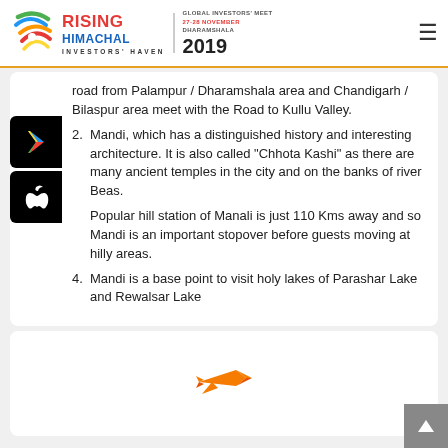RISING HIMACHAL — GLOBAL INVESTORS' MEET — 27-28 NOVEMBER DHARAMSHALA — 2019 — INVESTORS' HAVEN
road from Palampur / Dharamshala area and Chandigarh / Bilaspur area meet with the Road to Kullu Valley.
2. Mandi, which has a distinguished history and interesting architecture. It is also called "Chhota Kashi" as there are many ancient temples in the city and on the banks of river Beas.
Popular hill station of Manali is just 110 Kms away and so Mandi is an important stopover before guests moving at hilly areas.
4. Mandi is a base point to visit holy lakes of Parashar Lake and Rewalsar Lake
[Figure (illustration): Airplane icon in orange color at the bottom of the page]